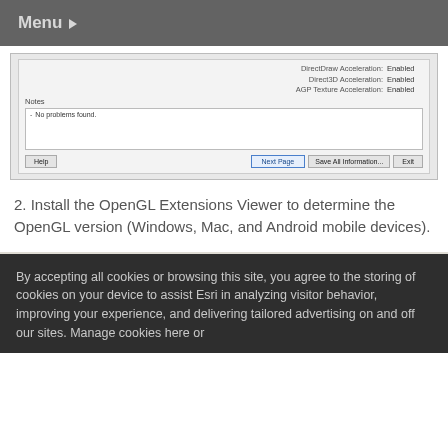Menu
[Figure (screenshot): Windows DirectX Diagnostic Tool screenshot showing DirectDraw Acceleration: Enabled, Direct3D Acceleration: Enabled, AGP Texture Acceleration: Enabled, Notes section with 'No problems found.', and buttons: Help, Next Page, Save All Information..., Exit]
2. Install the OpenGL Extensions Viewer to determine the OpenGL version (Windows, Mac, and Android mobile devices).
By accepting all cookies or browsing this site, you agree to the storing of cookies on your device to assist Esri in analyzing visitor behavior, improving your experience, and delivering tailored advertising on and off our sites. Manage cookies here or